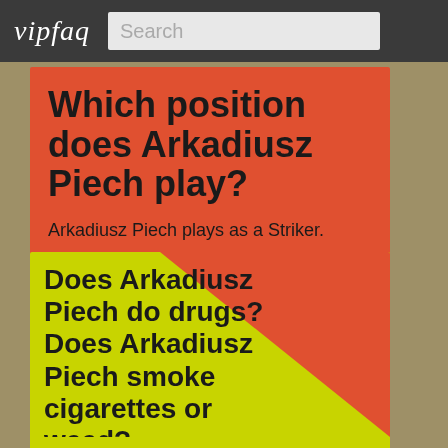vipfaq | Search
Which position does Arkadiusz Piech play?
Arkadiusz Piech plays as a Striker.
Does Arkadiusz Piech do drugs? Does Arkadiusz Piech smoke cigarettes or weed?
It is no secret that many celebrities have been caught with illegal drugs in the past. Some even openly admit their drug